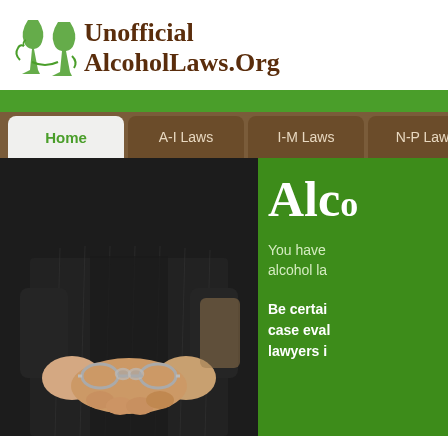[Figure (logo): Unofficial AlcoholLaws.Org logo with green wine glass icon and brown serif text]
[Figure (photo): Person in dark pinstripe suit with hands handcuffed behind back, shown from behind, next to green panel with partial text 'Alc... You have alcohol la... Be certai... case eval... lawyers i...']
Alcohol and DUI Laws